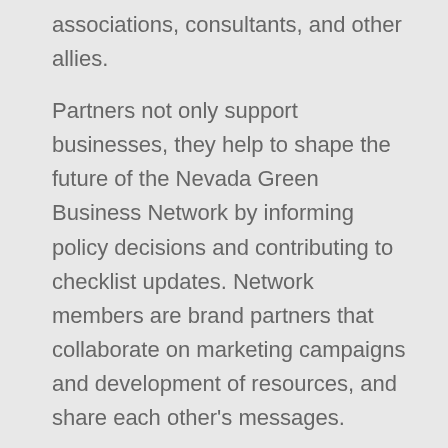associations, consultants, and other allies.
Partners not only support businesses, they help to shape the future of the Nevada Green Business Network by informing policy decisions and contributing to checklist updates. Network members are brand partners that collaborate on marketing campaigns and development of resources, and share each other’s messages.
To request more information about